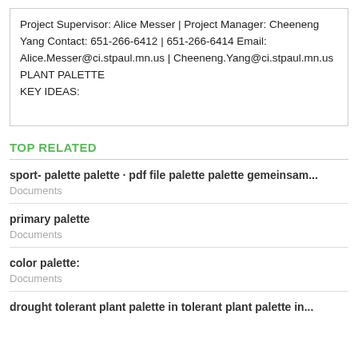Project Supervisor: Alice Messer | Project Manager: Cheeneng Yang Contact: 651-266-6412 | 651-266-6414 Email: Alice.Messer@ci.stpaul.mn.us | Cheeneng.Yang@ci.stpaul.mn.us PLANT PALETTE KEY IDEAS:
TOP RELATED
sport- palette palette · pdf file palette palette gemeinsam...
Documents
primary palette
Documents
color palette:
Documents
drought tolerant plant palette in tolerant plant palette in...